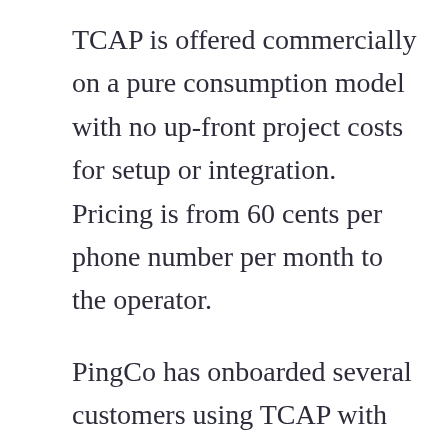TCAP is offered commercially on a pure consumption model with no up-front project costs for setup or integration. Pricing is from 60 cents per phone number per month to the operator.
PingCo has onboarded several customers using TCAP with some impressive partnerships to be announced in the coming weeks. For more information check out TCAP here.